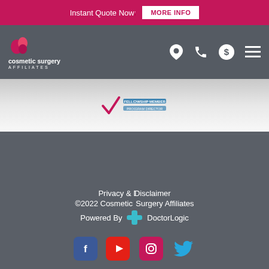Instant Quote Now  MORE INFO
[Figure (logo): Cosmetic Surgery Affiliates logo with navigation icons (location, phone, dollar, menu)]
[Figure (logo): Fellowship member program director badge]
Privacy & Disclaimer ©2022 Cosmetic Surgery Affiliates Powered By DoctorLogic
[Figure (other): Social media icons: Facebook, YouTube, Instagram, Twitter]